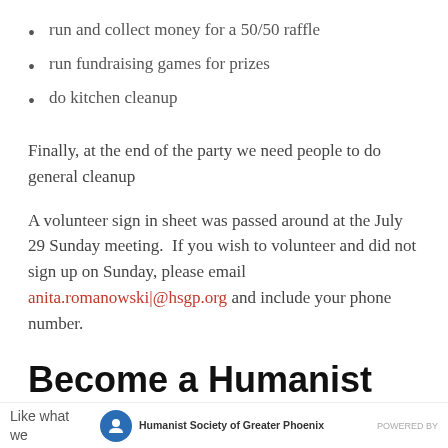run and collect money for a 50/50 raffle
run fundraising games for prizes
do kitchen cleanup
Finally, at the end of the party we need people to do general cleanup
A volunteer sign in sheet was passed around at the July 29 Sunday meeting.  If you wish to volunteer and did not sign up on Sunday, please email anita.romanowski|@hsgp.org and include your phone number.
Become a Humanist Hero
Like what we  Humanist Society of Greater Phoenix